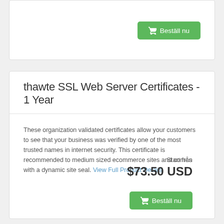[Figure (other): Top card with Beställ nu (order now) button on white card background]
thawte SSL Web Server Certificates - 1 Year
These organization validated certificates allow your customers to see that your business was verified by one of the most trusted names in internet security. This certificate is recommended to medium sized ecommerce sites and comes with a dynamic site seal. View Full Product Details
Start från
$73.50 USD